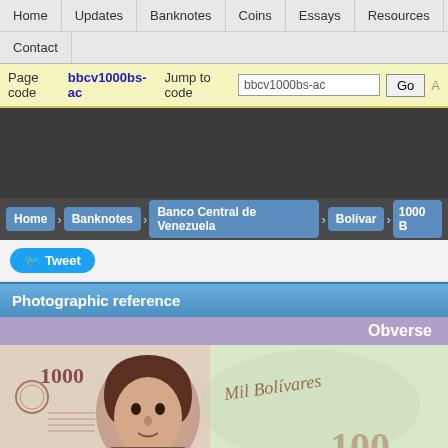Home | Updates | Banknotes | Coins | Essays | Resources | Sections | Contact
Page code bbcv1000bs-ac   Jump to code bbcv1000bs-ac   Go
[Figure (other): Advertisement banner (dark gray background)]
Home › Banknotes › Banco Central de Venezuela › Bolívar › 1000 B
Tweet
Photographic reference
Obverse
[Figure (photo): Obverse of a 1000 Bolivares banknote from Banco Central de Venezuela, showing portrait of Simón Bolívar and text 'Mil Bolívares' and '1000']